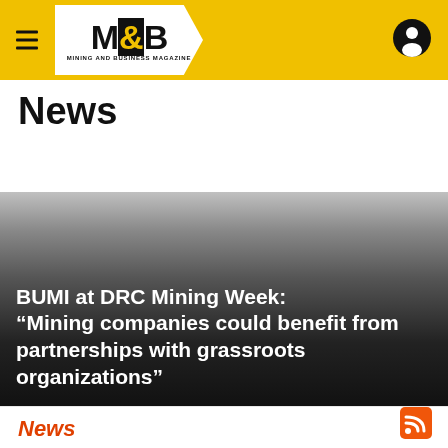M&B Mining and Business Magazine
News
[Figure (photo): News article card with gradient background overlay showing headline text about BUMI at DRC Mining Week]
BUMI at DRC Mining Week: "Mining companies could benefit from partnerships with grassroots organizations"
News